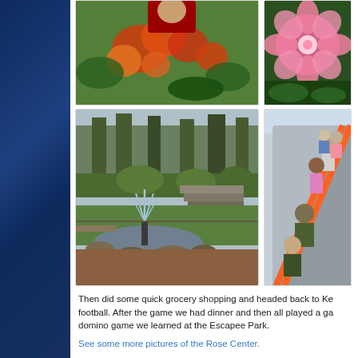[Figure (photo): Person holding orange and red roses in a garden]
[Figure (photo): Close-up of a pink flower]
[Figure (photo): Fountain in a park garden with trees and steps]
[Figure (photo): People on an escalator]
Then did some quick grocery shopping and headed back to Ke football. After the game we had dinner and then all played a ga domino game we learned at the Escapee Park.
See some more pictures of the Rose Center.